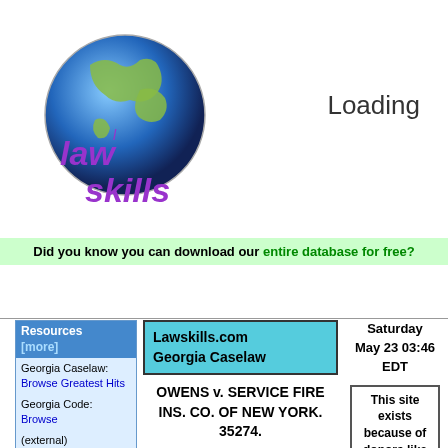[Figure (logo): LawSkills.com logo with globe and text 'lawskills']
Loading
Did you know you can download our entire database for free?
Resources [more]
Georgia Caselaw: Browse Greatest Hits
Georgia Code: Browse
(external) Findlaw Georgia Law
Lawskills.com Georgia Caselaw
OWENS v. SERVICE FIRE INS. CO. OF NEW YORK. 35274.
(90 Ga. App. 553) (83 SE2d 249) (1954)
Action on automobile policy. Before Judge
Saturday May 23 03:46 EDT
This site exists because of donors like you.
Thanks!